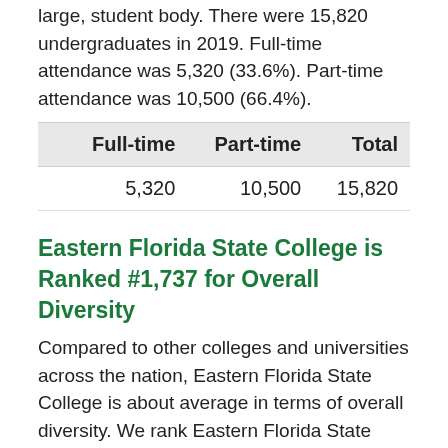large, student body. There were 15,820 undergraduates in 2019. Full-time attendance was 5,320 (33.6%). Part-time attendance was 10,500 (66.4%).
|  | Full-time | Part-time | Total |
| --- | --- | --- | --- |
|  | 5,320 | 10,500 | 15,820 |
Eastern Florida State College is Ranked #1,737 for Overall Diversity
Compared to other colleges and universities across the nation, Eastern Florida State College is about average in terms of overall diversity. We rank Eastern Florida State College #1737 out of